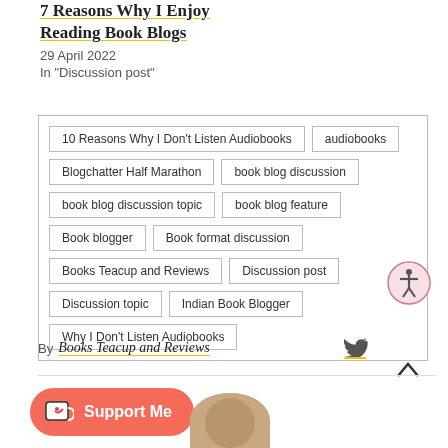7 Reasons Why I Enjoy Reading Book Blogs
29 April 2022
In "Discussion post"
10 Reasons Why I Don't Listen Audiobooks
audiobooks
Blogchatter Half Marathon
book blog discussion
book blog discussion topic
book blog feature
Book blogger
Book format discussion
Books Teacup and Reviews
Discussion post
Discussion topic
Indian Book Blogger
Why I Don't Listen Audiobooks
By Books Teacup and Reviews
[Figure (other): Accessibility icon - circular icon with person/human figure symbol]
[Figure (logo): Pinterest Save button - red background with P logo and Save text]
[Figure (other): Twitter bird icon]
[Figure (other): Support Me button - coral/red rounded rectangle with coffee cup icon]
[Figure (photo): Circular avatar photo of a person, partially visible at bottom of page]